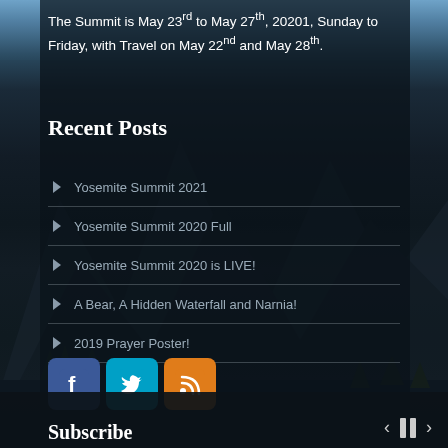The Summit is May 23rd to May 27th, 20201, Sunday to Friday, with Travel on May 22nd and May 28th.
Recent Posts
Yosemite Summit 2021
Yosemite Summit 2020 Full
Yosemite Summit 2020 is LIVE!
A Bear, A Hidden Waterfall and Narnia!
2019 Prayer Poster!
[Figure (infographic): Social media icon buttons: Facebook (blue), Twitter (cyan), RSS feed (orange)]
Subscribe